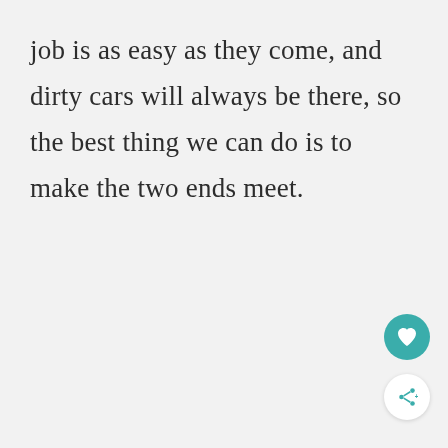job is as easy as they come, and dirty cars will always be there, so the best thing we can do is to make the two ends meet.
[Figure (other): Teal circular button with a heart icon (favorite/like button)]
[Figure (other): White circular button with a share icon]